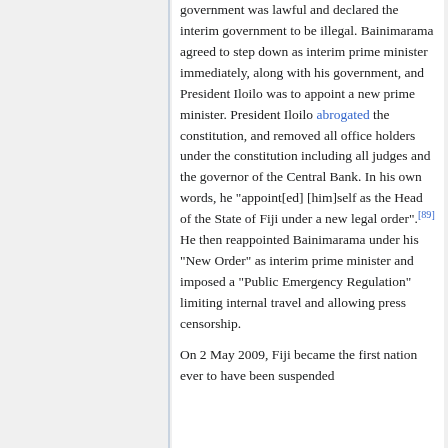government was lawful and declared the interim government to be illegal. Bainimarama agreed to step down as interim prime minister immediately, along with his government, and President Iloilo was to appoint a new prime minister. President Iloilo abrogated the constitution, and removed all office holders under the constitution including all judges and the governor of the Central Bank. In his own words, he "appoint[ed] [him]self as the Head of the State of Fiji under a new legal order".[89] He then reappointed Bainimarama under his "New Order" as interim prime minister and imposed a "Public Emergency Regulation" limiting internal travel and allowing press censorship.
On 2 May 2009, Fiji became the first nation ever to have been suspended